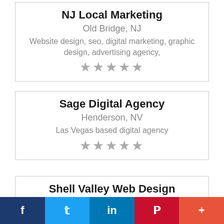NJ Local Marketing
Old Bridge, NJ
Website design, seo, digital marketing, graphic design, advertising agency,
[Figure (other): 5 gray stars rating]
Sage Digital Agency
Henderson, NV
Las Vegas based digital agency
[Figure (other): 5 gray stars rating]
Shell Valley Web Design
Shell, WY
.
[Figure (other): 5 gray stars rating]
f  t  in  p  +